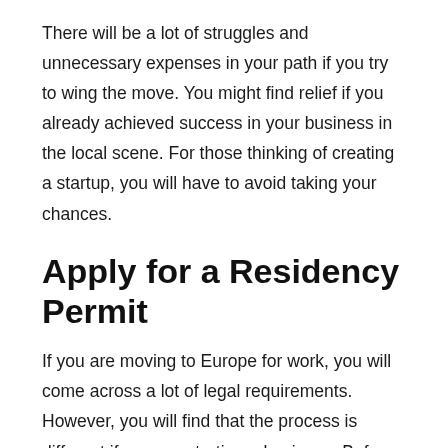There will be a lot of struggles and unnecessary expenses in your path if you try to wing the move. You might find relief if you already achieved success in your business in the local scene. For those thinking of creating a startup, you will have to avoid taking your chances.
Apply for a Residency Permit
If you are moving to Europe for work, you will come across a lot of legal requirements. However, you will find that the process is different if you are starting a business. Before you can create a startup in Europe, you will have to become a resident first. As the expansion of the European Union continues, it becomes more challenging for foreigners to start a business on the continent. The residency permit is what they